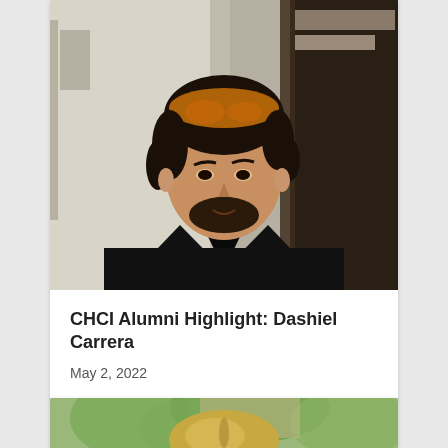[Figure (photo): Portrait photo of Dashiel Carrera, a young man with dark curly hair and a beard, wearing a black V-neck shirt, indoors with shelves visible in background]
CHCI Alumni Highlight: Dashiel Carrera
May 2, 2022
[Figure (photo): Portrait photo of a woman with blonde hair, outdoors with green foliage in background]